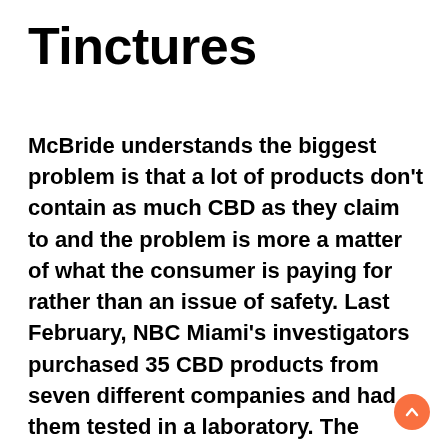Tinctures
McBride understands the biggest problem is that a lot of products don't contain as much CBD as they claim to and the problem is more a matter of what the consumer is paying for rather than an issue of safety. Last February, NBC Miami's investigators purchased 35 CBD products from seven different companies and had them tested in a laboratory. The investigation found that 20 out of the 35 had less than half of the amount of CBD advertised on the label, huile de cbd constipation and some had no CBD at all. Again, the only approved CBD product is